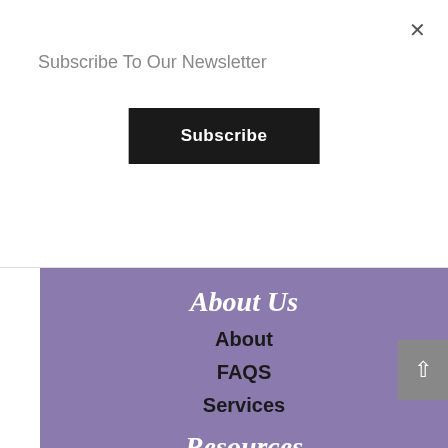Subscribe To Our Newsletter
Subscribe
About Us
About
FAQS
Services
Resources
Classes
Blog